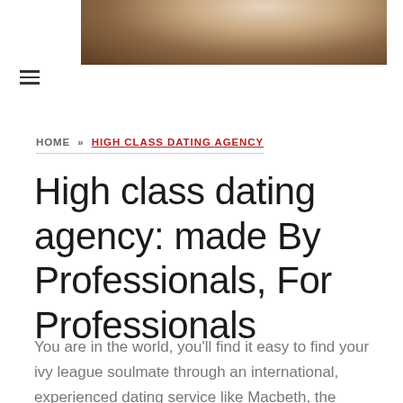[Figure (photo): Cropped photo showing people, partial view of figures in light clothing against a warm-toned background]
≡
HOME » HIGH CLASS DATING AGENCY
High class dating agency: made By Professionals, For Professionals
You are in the world, you'll find it easy to find your ivy league soulmate through an international, experienced dating service like Macbeth, the leading professional introduction